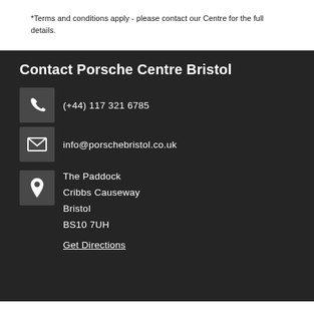*Terms and conditions apply - please contact our Centre for the full details.
Contact Porsche Centre Bristol
(+44) 117 321 6785
info@porschebristol.co.uk
The Paddock
Cribbs Causeway
Bristol
BS10 7UH
Get Directions